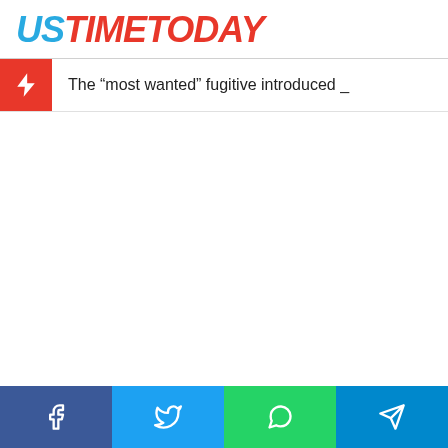USTIMETODAY
The “most wanted” fugitive introduced _